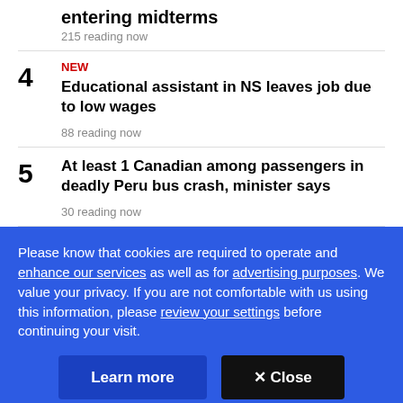entering midterms
215 reading now
4 NEW Educational assistant in NS leaves job due to low wages 88 reading now
5 At least 1 Canadian among passengers in deadly Peru bus crash, minister says 30 reading now
Please know that cookies are required to operate and enhance our services as well as for advertising purposes. We value your privacy. If you are not comfortable with us using this information, please review your settings before continuing your visit.